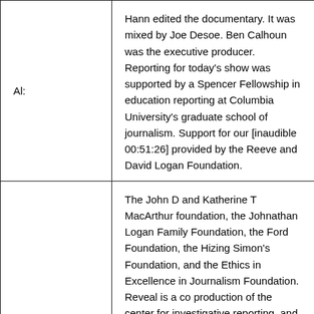Al:
Hann edited the documentary. It was mixed by Joe Desoe. Ben Calhoun was the executive producer. Reporting for today's show was supported by a Spencer Fellowship in education reporting at Columbia University's graduate school of journalism. Support for our [inaudible 00:51:26] provided by the Reeve and David Logan Foundation.
The John D and Katherine T MacArthur foundation, the Johnathan Logan Family Foundation, the Ford Foundation, the Hizing Simon's Foundation, and the Ethics in Excellence in Journalism Foundation. Reveal is a co production of the center for investigative reporting, and PRX. I'm Al Ludson, and remember, there is always more to the story ... [continues]